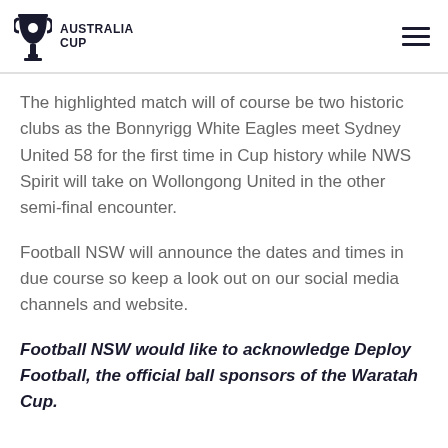AUSTRALIA CUP
The highlighted match will of course be two historic clubs as the Bonnyrigg White Eagles meet Sydney United 58 for the first time in Cup history while NWS Spirit will take on Wollongong United in the other semi-final encounter.
Football NSW will announce the dates and times in due course so keep a look out on our social media channels and website.
Football NSW would like to acknowledge Deploy Football, the official ball sponsors of the Waratah Cup.